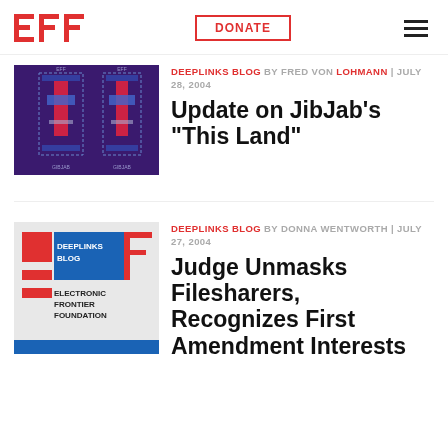EFF | DONATE | menu
[Figure (illustration): Two vertical bar chart-like figures with red and blue tones on a purple background, resembling people or figures]
DEEPLINKS BLOG BY FRED VON LOHMANN | JULY 28, 2004
Update on JibJab's "This Land"
[Figure (logo): EFF Deeplinks Blog logo with red and blue blocks, text: DEEPLINKS BLOG, ELECTRONIC FRONTIER FOUNDATION]
DEEPLINKS BLOG BY DONNA WENTWORTH | JULY 27, 2004
Judge Unmasks Filesharers, Recognizes First Amendment Interests